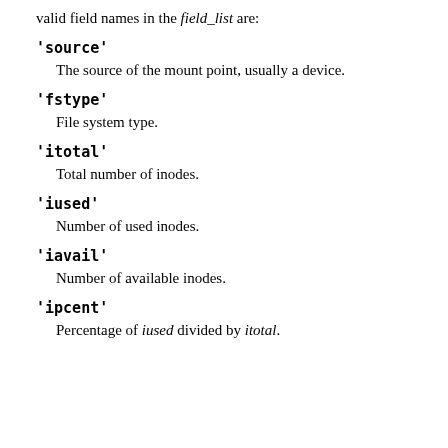valid field names in the field_list are:
'source'

The source of the mount point, usually a device.
'fstype'

File system type.
'itotal'

Total number of inodes.
'iused'

Number of used inodes.
'iavail'

Number of available inodes.
'ipcent'

Percentage of iused divided by itotal.